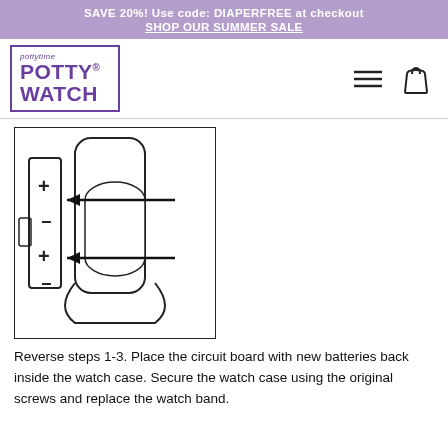SAVE 20%! Use code: DIAPERFREE at checkout
SHOP OUR SUMMER SALE
[Figure (logo): Pottytime Potty Watch logo in purple border]
[Figure (engineering-diagram): Line drawing of watch circuit board and battery compartment with arrows indicating insertion direction, showing + and - battery terminals]
Reverse steps 1-3. Place the circuit board with new batteries back inside the watch case. Secure the watch case using the original screws and replace the watch band.